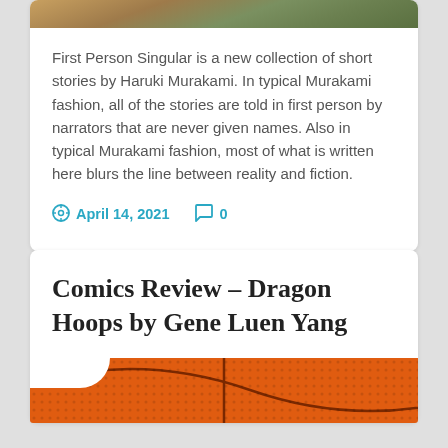[Figure (photo): Top portion of a book cover image, cropped, showing earthy/nature tones]
First Person Singular is a new collection of short stories by Haruki Murakami. In typical Murakami fashion, all of the stories are told in first person by narrators that are never given names. Also in typical Murakami fashion, most of what is written here blurs the line between reality and fiction.
April 14, 2021   0
Comics Review – Dragon Hoops by Gene Luen Yang
[Figure (photo): Bottom portion showing a basketball cover image in orange/red tones]